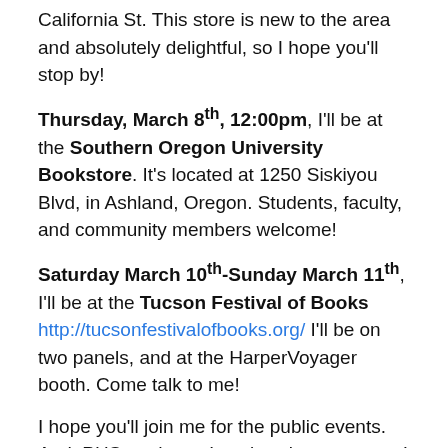California St. This store is new to the area and absolutely delightful, so I hope you'll stop by!
Thursday, March 8th, 12:00pm, I'll be at the Southern Oregon University Bookstore. It's located at 1250 Siskiyou Blvd, in Ashland, Oregon. Students, faculty, and community members welcome!
Saturday March 10th-Sunday March 11th, I'll be at the Tucson Festival of Books http://tucsonfestivalofbooks.org/ I'll be on two panels, and at the HarperVoyager booth. Come talk to me!
I hope you'll join me for the public events.  And, PHS students, I can't wait to meet you!
Happy reading, all.
– Marina